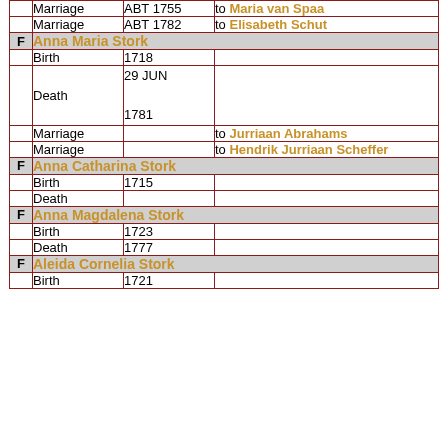|  | Event | Date | Detail |
| --- | --- | --- | --- |
|  | Marriage | ABT 1755 | to Maria van Spaa |
|  | Marriage | ABT 1782 | to Elisabeth Schut |
| F | Anna Maria Stork |  |  |
|  | Birth | 1718 |  |
|  | Death | 29 JUN 1781 |  |
|  | Marriage |  | to Jurriaan Abrahams |
|  | Marriage |  | to Hendrik Jurriaan Scheffer |
| F | Anna Catharina Stork |  |  |
|  | Birth | 1715 |  |
|  | Death |  |  |
| F | Anna Magdalena Stork |  |  |
|  | Birth | 1723 |  |
|  | Death | 1777 |  |
| F | Aleida Cornelia Stork |  |  |
|  | Birth | 1721 |  |